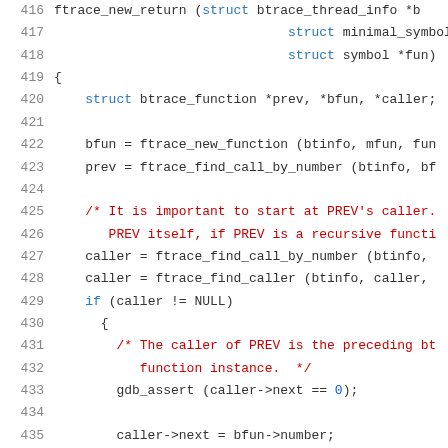[Figure (screenshot): Source code listing lines 416-436 showing C function ftrace_new_return with syntax highlighting. Line numbers in gray on left, keywords in blue, comments in red, identifiers in dark orange.]